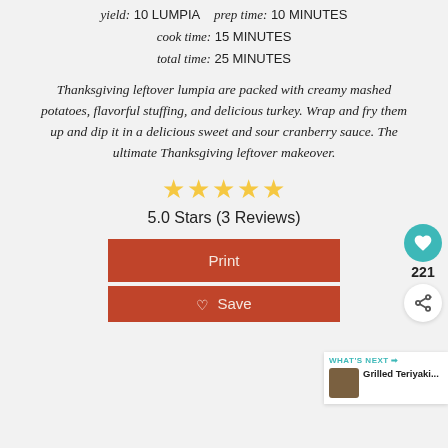yield: 10 LUMPIA   prep time: 10 MINUTES
cook time: 15 MINUTES
total time: 25 MINUTES
Thanksgiving leftover lumpia are packed with creamy mashed potatoes, flavorful stuffing, and delicious turkey. Wrap and fry them up and dip it in a delicious sweet and sour cranberry sauce. The ultimate Thanksgiving leftover makeover.
[Figure (other): 5 gold star rating icons]
5.0 Stars (3 Reviews)
Print
Save
[Figure (other): WHAT'S NEXT arrow label with thumbnail of Grilled Teriyaki... recipe]